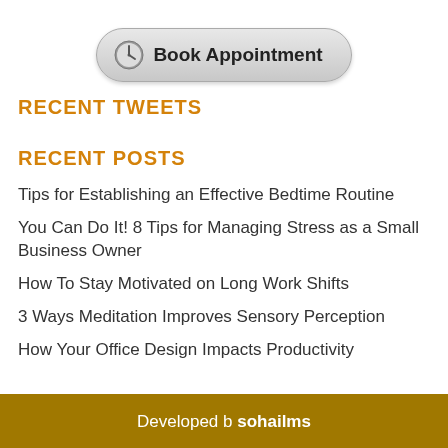[Figure (other): Book Appointment button with clock icon, pill-shaped grey gradient button]
RECENT TWEETS
RECENT POSTS
Tips for Establishing an Effective Bedtime Routine
You Can Do It! 8 Tips for Managing Stress as a Small Business Owner
How To Stay Motivated on Long Work Shifts
3 Ways Meditation Improves Sensory Perception
How Your Office Design Impacts Productivity
Developed b sohailms